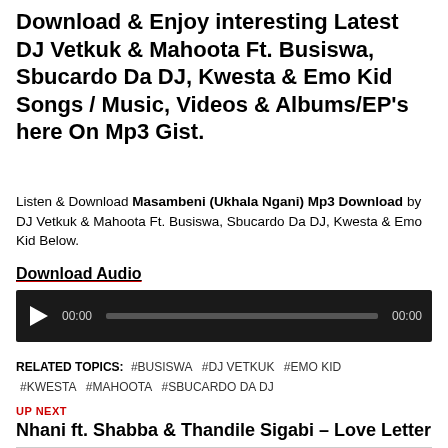Download & Enjoy interesting Latest DJ Vetkuk & Mahoota Ft. Busiswa, Sbucardo Da DJ, Kwesta & Emo Kid Songs / Music, Videos & Albums/EP's here On Mp3 Gist.
Listen & Download Masambeni (Ukhala Ngani) Mp3 Download by DJ Vetkuk & Mahoota Ft. Busiswa, Sbucardo Da DJ, Kwesta & Emo Kid Below.
Download Audio
[Figure (other): Audio player widget with play button, progress bar, and time display showing 00:00 / 00:00 on a dark background]
RELATED TOPICS: #BUSISWA #DJ VETKUK #EMO KID #KWESTA #MAHOOTA #SBUCARDO DA DJ
UP NEXT
Nhani ft. Shabba & Thandile Sigabi – Love Letter